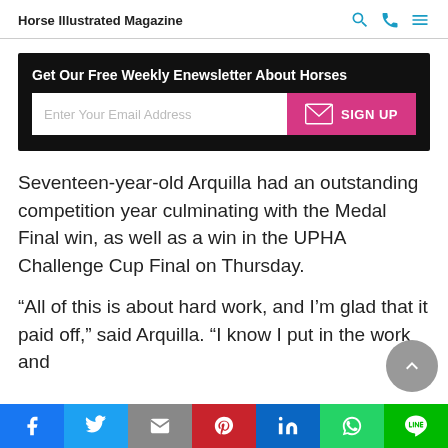Horse Illustrated Magazine
[Figure (screenshot): Newsletter signup box with black background. Title: 'Get Our Free Weekly Enewsletter About Horses'. Email input field with placeholder 'Enter Your Email Address' and a pink SIGN UP button with envelope icon.]
Seventeen-year-old Arquilla had an outstanding competition year culminating with the Medal Final win, as well as a win in the UPHA Challenge Cup Final on Thursday.
“All of this is about hard work, and I’m glad that it paid off,” said Arquilla. “I know I put in the work and
[Figure (other): Social share bar with icons for Facebook, Twitter, Email, Pinterest, LinkedIn, WhatsApp, LINE]